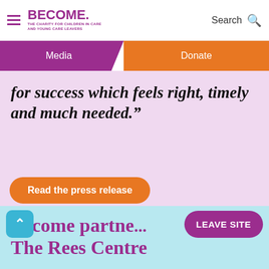BECOME. THE CHARITY FOR CHILDREN IN CARE AND YOUNG CARE LEAVERS | Search
Media | Donate
for success which feels right, timely and much needed.”
Read the press release
Become partne... The Rees Centre